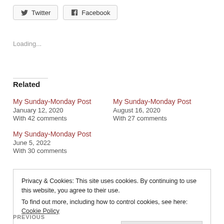[Figure (other): Twitter and Facebook share buttons]
Loading...
Related
My Sunday-Monday Post
January 12, 2020
With 42 comments
My Sunday-Monday Post
August 16, 2020
With 27 comments
My Sunday-Monday Post
June 5, 2022
With 30 comments
Privacy & Cookies: This site uses cookies. By continuing to use this website, you agree to their use. To find out more, including how to control cookies, see here: Cookie Policy
Close and accept
PREVIOUS